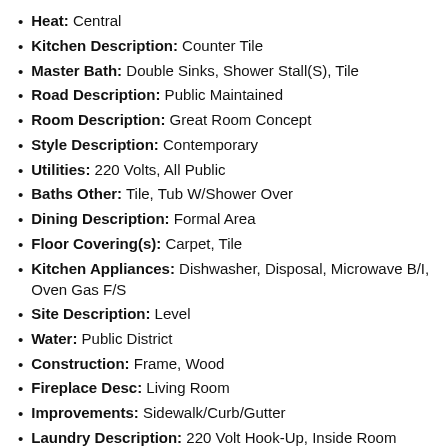Heat: Central
Kitchen Description: Counter Tile
Master Bath: Double Sinks, Shower Stall(S), Tile
Road Description: Public Maintained
Room Description: Great Room Concept
Style Description: Contemporary
Utilities: 220 Volts, All Public
Baths Other: Tile, Tub W/Shower Over
Dining Description: Formal Area
Floor Covering(s): Carpet, Tile
Kitchen Appliances: Dishwasher, Disposal, Microwave B/I, Oven Gas F/S
Site Description: Level
Water: Public District
Construction: Frame, Wood
Fireplace Desc: Living Room
Improvements: Sidewalk/Curb/Gutter
Laundry Description: 220 Volt Hook-Up, Inside Room